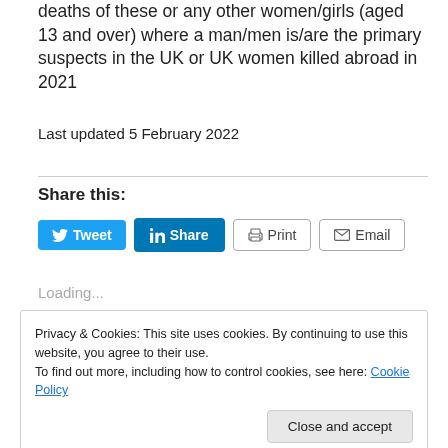deaths of these or any other women/girls (aged 13 and over) where a man/men is/are the primary suspects in the UK or UK women killed abroad in 2021
Last updated 5 February 2022
Share this:
Tweet  Share  Print  Email
Loading...
Privacy & Cookies: This site uses cookies. By continuing to use this website, you agree to their use.
To find out more, including how to control cookies, see here: Cookie Policy
Close and accept